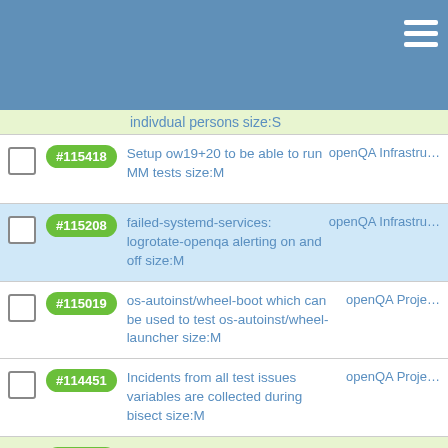indivdual persons size:S
#115418 Setup ow19+20 to be able to run MM tests size:M — openQA Infrastru…
#115208 failed-systemd-services: logrotate-openqa alerting on and off size:M — openQA Infrastru…
#115019 os-autoinst/wheel-boot which can be used to test os-autoinst/wheel-launcher size:M — openQA Proje…
#114451 Incidents from all test issues variables are collected during bisect size:M — openQA Proje…
#114421 Add a limit where it makes sense after we have it for /tests, query configurable size:M — openQA Proje…